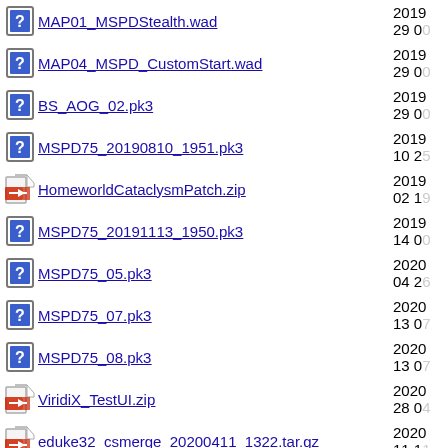MAP01_MSPDStealth.wad  2019 29 0
MAP04_MSPD_CustomStart.wad  2019 29 0
BS_AOG_02.pk3  2019 29 0
MSPD75_20190810_1951.pk3  2019 10 2
HomeworldCataclysmPatch.zip  2019 02 1
MSPD75_20191113_1950.pk3  2019 14 0
MSPD75_05.pk3  2020 04 2
MSPD75_07.pk3  2020 13 0
MSPD75_08.pk3  2020 13 0
ViridiX_TestUI.zip  2020 28 0
eduke32_csmerge_20200411_1322.tar.gz  2020 11 1